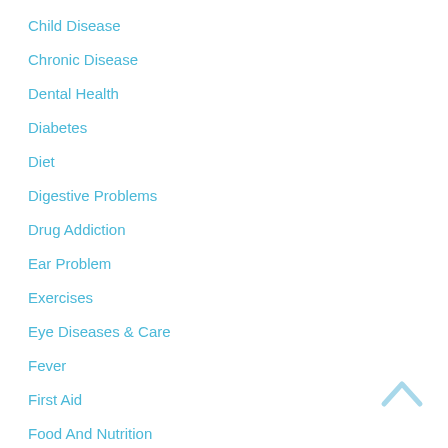Child Disease
Chronic Disease
Dental Health
Diabetes
Diet
Digestive Problems
Drug Addiction
Ear Problem
Exercises
Eye Diseases & Care
Fever
First Aid
Food And Nutrition
Foot Problems